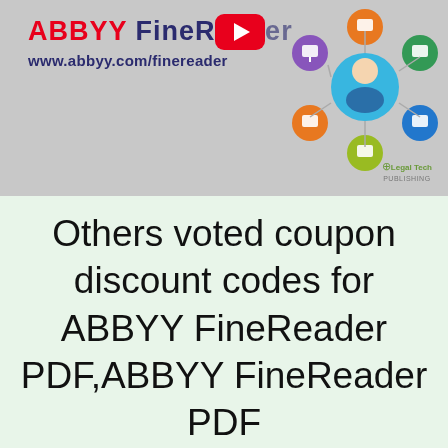[Figure (screenshot): ABBYY FineReader promotional banner with logo, YouTube play button, www.abbyy.com/finereader URL, and a diagram of document workflow icons on a grey background. Legal Tech Publishing watermark in bottom right.]
Others voted coupon discount codes for ABBYY FineReader PDF,ABBYY FineReader PDF